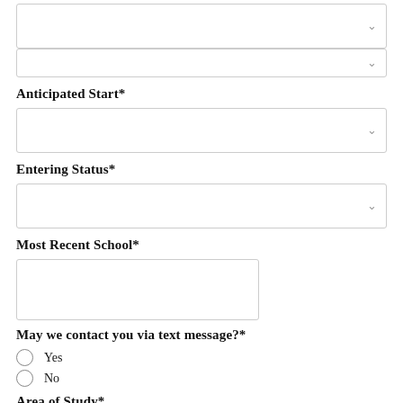[Figure (screenshot): Two dropdown select boxes at the top of the page, partially cropped]
Anticipated Start*
[Figure (screenshot): Dropdown select box for Anticipated Start]
Entering Status*
[Figure (screenshot): Dropdown select box for Entering Status]
Most Recent School*
[Figure (screenshot): Text input box for Most Recent School]
May we contact you via text message?*
Yes
No
Area of Study*
(Check all that apply)